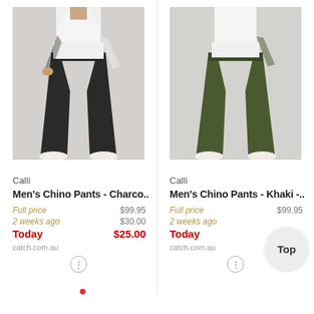[Figure (photo): Man wearing dark charcoal chino pants with white shirt and white shoes on light grey background]
[Figure (photo): Man wearing khaki/olive green chino pants with white shirt and white shoes on light grey background]
Calli
Men's Chino Pants - Charco..
Full price $99.95
2 weeks ago $30.00
Today $25.00
catch.com.au
Calli
Men's Chino Pants - Khaki -..
Full price $99.95
2 weeks ago
Today
catch.com.au